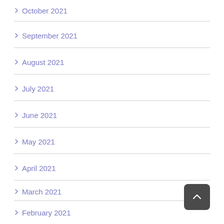October 2021
September 2021
August 2021
July 2021
June 2021
May 2021
April 2021
March 2021
February 2021